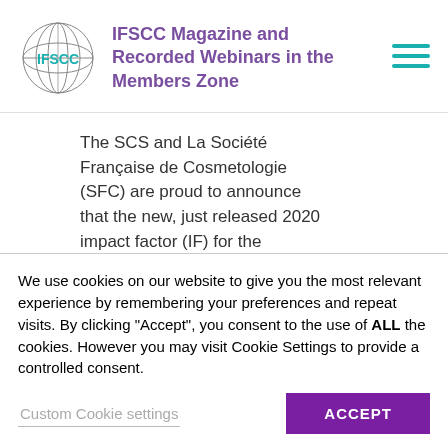[Figure (logo): IFSCC logo: circular globe-like design with teal 'IFSCC' text in the center]
IFSCC Magazine and Recorded Webinars in the Members Zone
The SCS and La Société Française de Cosmetologie (SFC) are proud to announce that the new, just released 2020 impact factor (IF) for the International Journal of
We use cookies on our website to give you the most relevant experience by remembering your preferences and repeat visits. By clicking "Accept", you consent to the use of ALL the cookies. However you may visit Cookie Settings to provide a controlled consent.
Custom Cookie settings
ACCEPT